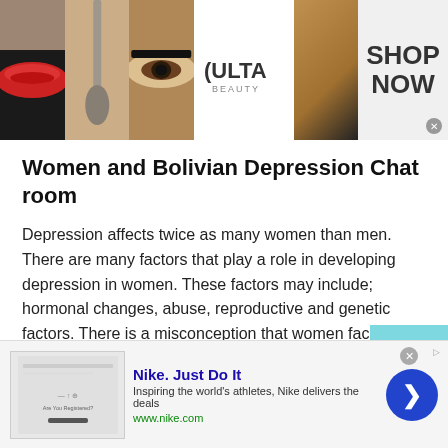[Figure (photo): Banner advertisement for Ulta Beauty featuring makeup photos (lips, brush, eye) and Ulta logo with SHOP NOW button]
Women and Bolivian Depression Chat room
Depression affects twice as many women than men. There are many factors that play a role in developing depression in women. These factors may include; hormonal changes, abuse, reproductive and genetic factors. There is a misconception that women face more depression because of their vulnerabilities. Women may feel depressed because of the following factors.
[Figure (screenshot): Nike 'Just Do It' advertisement with thumbnail image, text 'Inspiring the world's athletes, Nike delivers the deals', URL www.nike.com, and a blue arrow button]